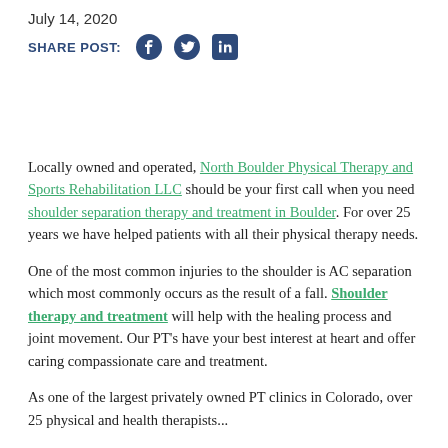July 14, 2020
SHARE POST:
Locally owned and operated, North Boulder Physical Therapy and Sports Rehabilitation LLC should be your first call when you need shoulder separation therapy and treatment in Boulder. For over 25 years we have helped patients with all their physical therapy needs.
One of the most common injuries to the shoulder is AC separation which most commonly occurs as the result of a fall. Shoulder therapy and treatment will help with the healing process and joint movement. Our PT's have your best interest at heart and offer caring compassionate care and treatment.
As one of the largest privately owned PT clinics in Colorado, over 25 physical and health therapists...